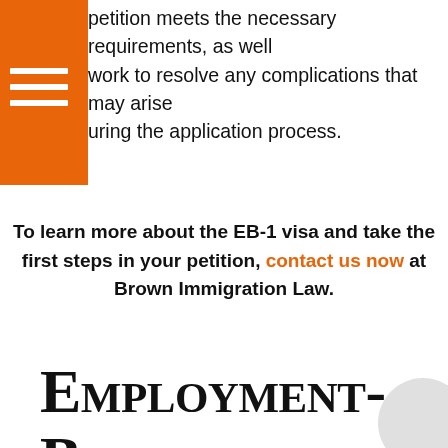petition meets the necessary requirements, as well work to resolve any complications that may arise uring the application process.
To learn more about the EB-1 visa and take the first steps in your petition, contact us now at Brown Immigration Law.
Employment-Based Permanent Residents